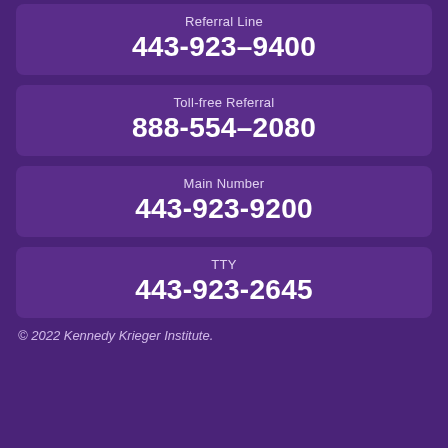Referral Line
443-923–9400
Toll-free Referral
888-554–2080
Main Number
443-923-9200
TTY
443-923-2645
© 2022 Kennedy Krieger Institute.